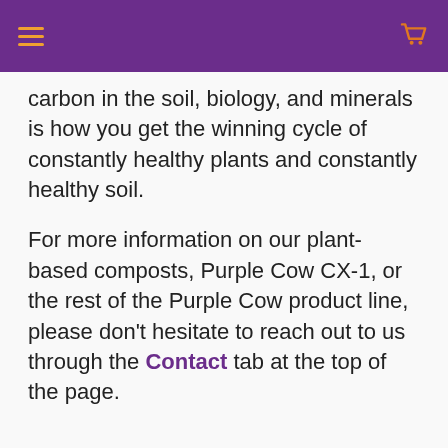[hamburger menu] [cart icon]
carbon in the soil, biology, and minerals is how you get the winning cycle of constantly healthy plants and constantly healthy soil.
For more information on our plant-based composts, Purple Cow CX-1, or the rest of the Purple Cow product line, please don't hesitate to reach out to us through the Contact tab at the top of the page.